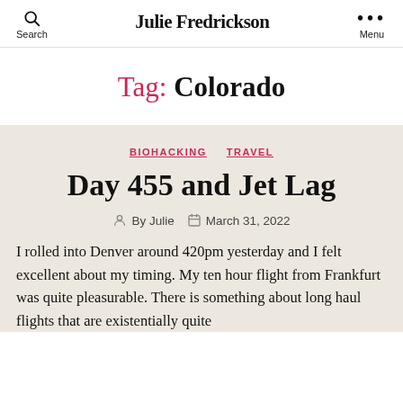Search | Julie Fredrickson | Menu
Tag: Colorado
BIOHACKING  TRAVEL
Day 455 and Jet Lag
By Julie  March 31, 2022
I rolled into Denver around 420pm yesterday and I felt excellent about my timing. My ten hour flight from Frankfurt was quite pleasurable. There is something about long haul flights that are existentially quite